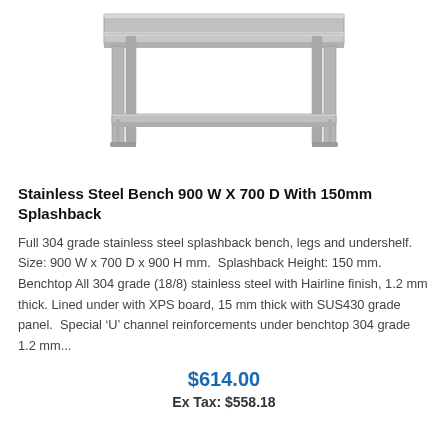[Figure (photo): Stainless steel commercial kitchen bench with lower undershelf and four legs, shown at an angle. The bench has a visible splashback at the back.]
Stainless Steel Bench 900 W X 700 D With 150mm Splashback
Full 304 grade stainless steel splashback bench, legs and undershelf.  Size: 900 W x 700 D x 900 H mm.  Splashback Height: 150 mm.  Benchtop All 304 grade (18/8) stainless steel with Hairline finish, 1.2 mm thick. Lined under with XPS board, 15 mm thick with SUS430 grade panel.  Special ‘U’ channel reinforcements under benchtop 304 grade 1.2 mm...
$614.00
Ex Tax: $558.18